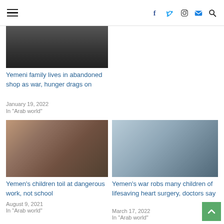Navigation header with hamburger menu and social icons (Facebook, Twitter, Instagram, Email, Search)
[Figure (photo): Partial thumbnail of Yemen war-related photo, dark tones]
Yemeni family lives in abandoned shop as war, hunger drags on
January 19, 2022
In "Arab world"
[Figure (photo): Child holding pink fabric in a market or shop, Yemen child labor story]
Yemen's children toil at dangerous work, not school
August 9, 2021
In "Arab world"
[Figure (photo): Hospital scene with children in beds, Yemen heart surgery story]
Yemen's war robs many children of lifesaving heart surgery, doctors say
March 17, 2022
In "Arab world"
[Figure (photo): Partial thumbnail at bottom, Yemen related image]